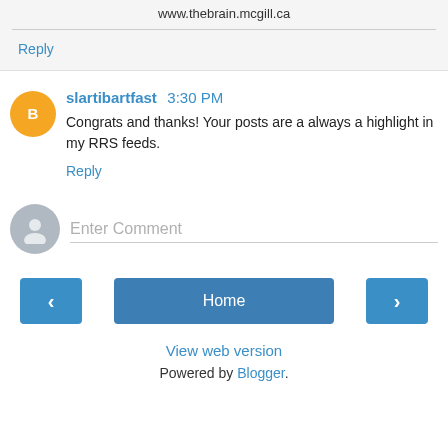www.thebrain.mcgill.ca
Reply
slartibartfast 3:30 PM
Congrats and thanks! Your posts are a always a highlight in my RRS feeds.
Reply
Enter Comment
Home
View web version
Powered by Blogger.